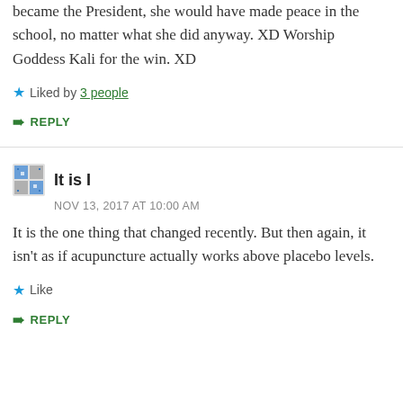became the President, she would have made peace in the school, no matter what she did anyway. XD Worship Goddess Kali for the win. XD
Liked by 3 people
REPLY
It is I
NOV 13, 2017 AT 10:00 AM
It is the one thing that changed recently. But then again, it isn't as if acupuncture actually works above placebo levels.
Like
REPLY